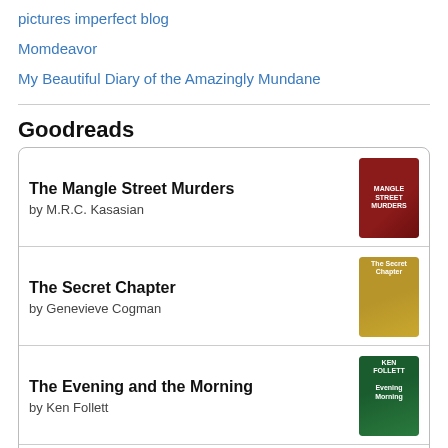pictures imperfect blog
Momdeavor
My Beautiful Diary of the Amazingly Mundane
Goodreads
| Title | Author | Cover |
| --- | --- | --- |
| The Mangle Street Murders | by M.R.C. Kasasian |  |
| The Secret Chapter | by Genevieve Cogman |  |
| The Evening and the Morning | by Ken Follett |  |
| The Cicero Trilogy | by Robert Harris |  |